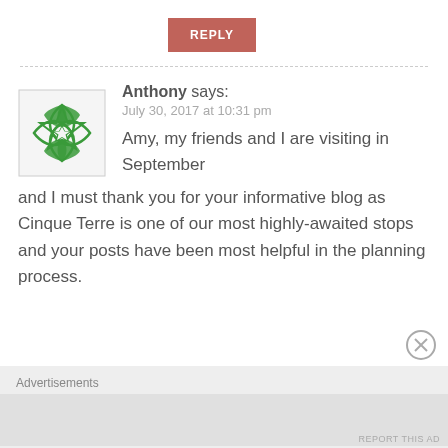REPLY
Anthony says:
July 30, 2017 at 10:31 pm
Amy, my friends and I are visiting in September and I must thank you for your informative blog as Cinque Terre is one of our most highly-awaited stops and your posts have been most helpful in the planning process.
Advertisements